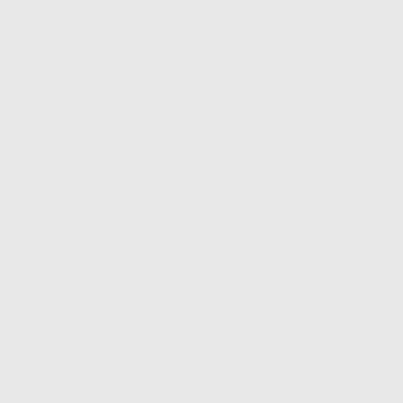Grab my Button
[Figure (illustration): Bento Monsters logo: cartoon bears grouped together with text 'BENTO MONSTERS' above on a mint-green background]
Simply copy and paste the code below to your site to link to me.
<div class="grab-button" style="width: 100px; margin: 0 auto;"> <a href="http://www.bentomonsters.com/" rel="nofollow"> <img src="http://4.bp.blogspot.com/-G8BvwjVKwaU/VdIrnKA2uyI/A